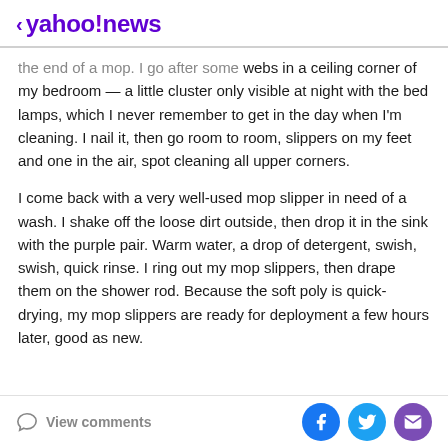< yahoo!news
the end of a mop. I go after some webs in a ceiling corner of my bedroom — a little cluster only visible at night with the bed lamps, which I never remember to get in the day when I'm cleaning. I nail it, then go room to room, slippers on my feet and one in the air, spot cleaning all upper corners.
I come back with a very well-used mop slipper in need of a wash. I shake off the loose dirt outside, then drop it in the sink with the purple pair. Warm water, a drop of detergent, swish, swish, quick rinse. I ring out my mop slippers, then drape them on the shower rod. Because the soft poly is quick-drying, my mop slippers are ready for deployment a few hours later, good as new.
View comments